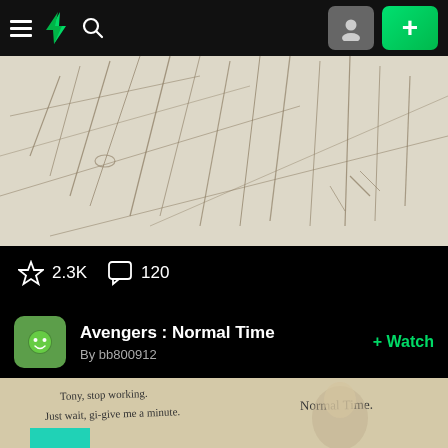DeviantArt navigation bar with hamburger menu, DA logo, search icon, avatar button, and + button
[Figure (illustration): Manga/sketch style artwork showing ruffled clothing/fabric close-up, pencil line art on white background, dark border on artwork]
☆ 2.3K  💬 120
Avengers : Normal Time  By bb800912  + Watch
[Figure (illustration): Manga illustration of a blond character holding a phone, with handwritten text 'Tony, stop working' and 'Just wait, gi-give me a minute' on the left, and 'Normal Time.' on the right, warm beige background]